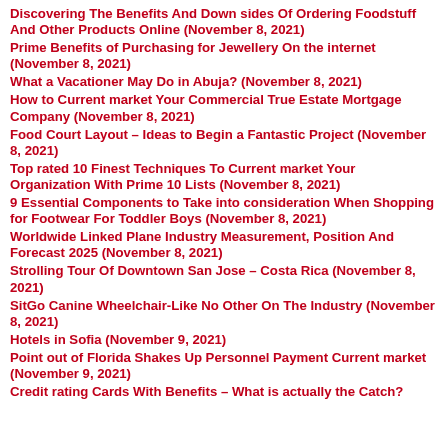Discovering The Benefits And Down sides Of Ordering Foodstuff And Other Products Online (November 8, 2021)
Prime Benefits of Purchasing for Jewellery On the internet (November 8, 2021)
What a Vacationer May Do in Abuja? (November 8, 2021)
How to Current market Your Commercial True Estate Mortgage Company (November 8, 2021)
Food Court Layout – Ideas to Begin a Fantastic Project (November 8, 2021)
Top rated 10 Finest Techniques To Current market Your Organization With Prime 10 Lists (November 8, 2021)
9 Essential Components to Take into consideration When Shopping for Footwear For Toddler Boys (November 8, 2021)
Worldwide Linked Plane Industry Measurement, Position And Forecast 2025 (November 8, 2021)
Strolling Tour Of Downtown San Jose – Costa Rica (November 8, 2021)
SitGo Canine Wheelchair-Like No Other On The Industry (November 8, 2021)
Hotels in Sofia (November 9, 2021)
Point out of Florida Shakes Up Personnel Payment Current market (November 9, 2021)
Credit rating Cards With Benefits – What is actually the Catch?